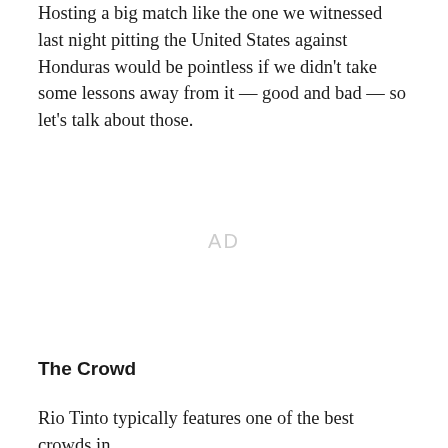Hosting a big match like the one we witnessed last night pitting the United States against Honduras would be pointless if we didn't take some lessons away from it — good and bad — so let's talk about those.
AD
The Crowd
Rio Tinto typically features one of the best crowds in